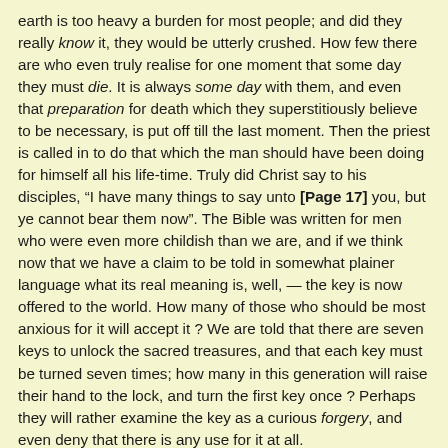earth is too heavy a burden for most people; and did they really know it, they would be utterly crushed. How few there are who even truly realise for one moment that some day they must die. It is always some day with them, and even that preparation for death which they superstitiously believe to be necessary, is put off till the last moment. Then the priest is called in to do that which the man should have been doing for himself all his life-time. Truly did Christ say to his disciples, “I have many things to say unto [Page 17] you, but ye cannot bear them now”. The Bible was written for men who were even more childish than we are, and if we think now that we have a claim to be told in somewhat plainer language what its real meaning is, well, — the key is now offered to the world. How many of those who should be most anxious for it will accept it ? We are told that there are seven keys to unlock the sacred treasures, and that each key must be turned seven times; how many in this generation will raise their hand to the lock, and turn the first key once ? Perhaps they will rather examine the key as a curious forgery, and even deny that there is any use for it at all.
Just as a deeper knowledge awaits the child when he shall have grown up to that stage where it is possible for him to lay hold of it, so does a deeper knowledge await the human race and the individual when they shall have reached that